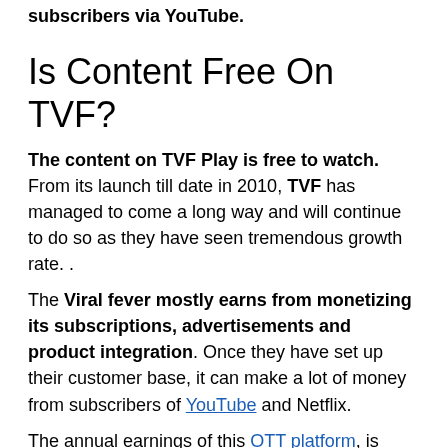has gained a viewership of over 32 million TVF subscribers via YouTube.
Is Content Free On TVF?
The content on TVF Play is free to watch. From its launch till date in 2010, TVF has managed to come a long way and will continue to do so as they have seen tremendous growth rate. .
The Viral fever mostly earns from monetizing its subscriptions, advertisements and product integration. Once they have set up their customer base, it can make a lot of money from subscribers of YouTube and Netflix.
The annual earnings of this OTT platform, is around $192 million, which is indeed a lot of money.